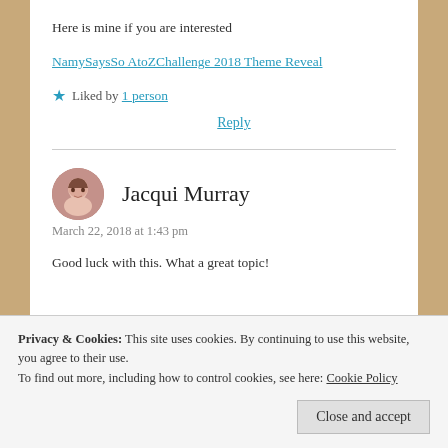Here is mine if you are interested
NamySaysSo AtoZChallenge 2018 Theme Reveal
★ Liked by 1 person
Reply
Jacqui Murray
March 22, 2018 at 1:43 pm
Good luck with this. What a great topic!
Privacy & Cookies: This site uses cookies. By continuing to use this website, you agree to their use.
To find out more, including how to control cookies, see here: Cookie Policy
Close and accept